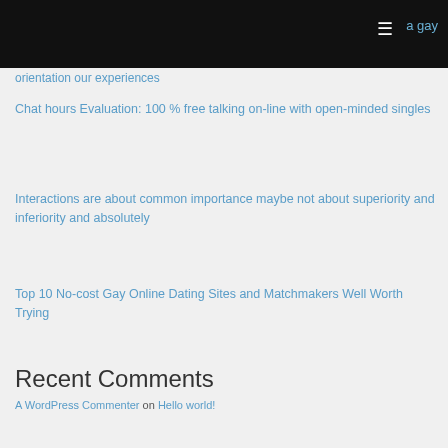a gay
orientation our experiences
Chat hours Evaluation: 100 % free talking on-line with open-minded singles
Interactions are about common importance maybe not about superiority and inferiority and absolutely
Top 10 No-cost Gay Online Dating Sites and Matchmakers Well Worth Trying
Recent Comments
A WordPress Commenter on Hello world!